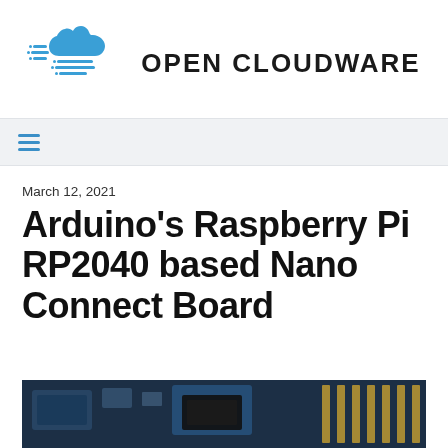[Figure (logo): Open Cloudware logo: a blue cloud with speed lines and the text OPEN CLOUDWARE in bold sans-serif]
[Figure (other): Navigation bar with hamburger menu icon (three horizontal blue lines)]
March 12, 2021
Arduino's Raspberry Pi RP2040 based Nano Connect Board
[Figure (photo): Photo of an Arduino Nano Connect board (circuit board with components visible)]